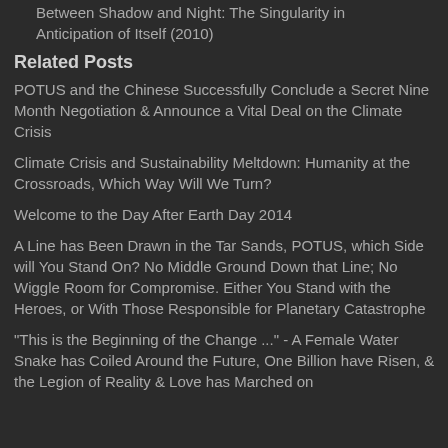Between Shadow and Night: The Singularity in Anticipation of Itself (2010)
Related Posts
POTUS and the Chinese Successfully Conclude a Secret Nine Month Negotiation & Announce a Vital Deal on the Climate Crisis
Climate Crisis and Sustainability Meltdown: Humanity at the Crossroads, Which Way Will We Turn?
Welcome to the Day After Earth Day 2014
A Line has Been Drawn in the Tar Sands, POTUS, which Side will You Stand On? No Middle Ground Down that Line; No Wiggle Room for Compromise. Either You Stand with the Heroes, or With Those Responsible for Planetary Catastrophe
"This is the Beginning of the Change ..." - A Female Water Snake has Coiled Around the Future, One Billion have Risen, & the Legion of Reality & Love has Marched on